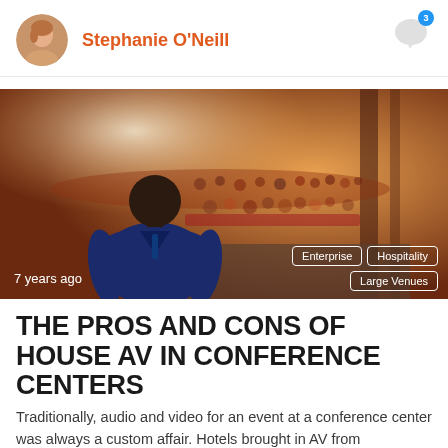Stephanie O'Neill
[Figure (photo): A person in a blue suit seen from behind, facing an audience at a conference or lecture hall. Tags visible: Enterprise, Hospitality, Large Venues. Time label: 7 years ago.]
THE PROS AND CONS OF HOUSE AV IN CONFERENCE CENTERS
Traditionally, audio and video for an event at a conference center was always a custom affair. Hotels brought in AV from